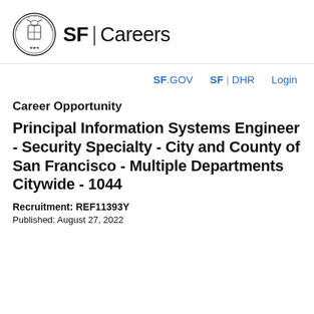SF | Careers
SF.GOV  SF | DHR  Login
Career Opportunity
Principal Information Systems Engineer - Security Specialty - City and County of San Francisco - Multiple Departments Citywide - 1044
Recruitment: REF11393Y
Published: August 27, 2022